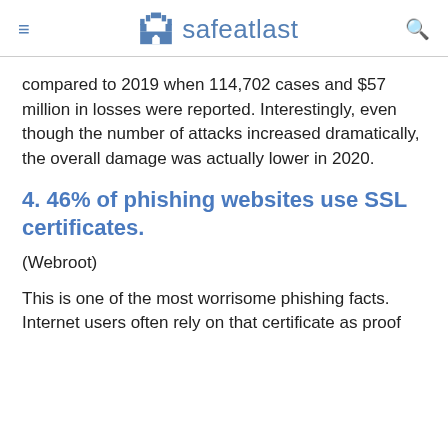safeatlast
compared to 2019 when 114,702 cases and $57 million in losses were reported. Interestingly, even though the number of attacks increased dramatically, the overall damage was actually lower in 2020.
4. 46% of phishing websites use SSL certificates.
(Webroot)
This is one of the most worrisome phishing facts. Internet users often rely on that certificate as proof